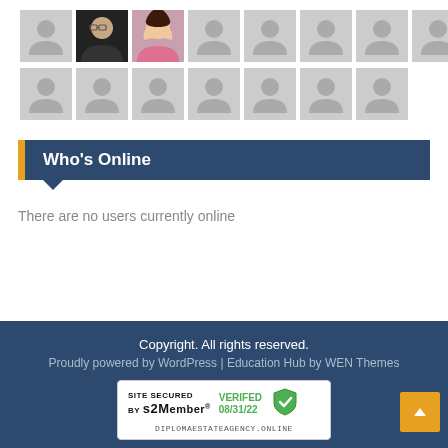[Figure (illustration): Two rows of user avatar thumbnails. Top row: 8 avatars, second and third from left show real photos (man with glasses, woman with dark hair). Rest are grey placeholder silhouettes. Bottom row: 7 grey placeholder silhouettes.]
Who's Online
There are no users currently online
Copyright. All rights reserved.
Proudly powered by WordPress | Education Hub by WEN Themes
[Figure (infographic): SITE SECURED BY s2Member® VERIFED 08/31/22 shield icon — DIPLOMAESTATEAGENCY.ONLINE]